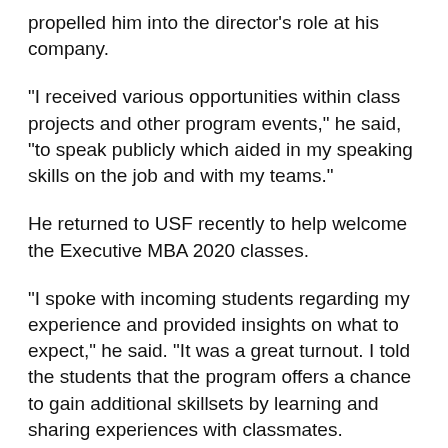propelled him into the director's role at his company.
"I received various opportunities within class projects and other program events," he said, "to speak publicly which aided in my speaking skills on the job and with my teams."
He returned to USF recently to help welcome the Executive MBA 2020 classes.
"I spoke with incoming students regarding my experience and provided insights on what to expect," he said. "It was a great turnout. I told the students that the program offers a chance to gain additional skillsets by learning and sharing experiences with classmates.
"Building relationships and networking with my classmates to gain cursory knowledge as to how they